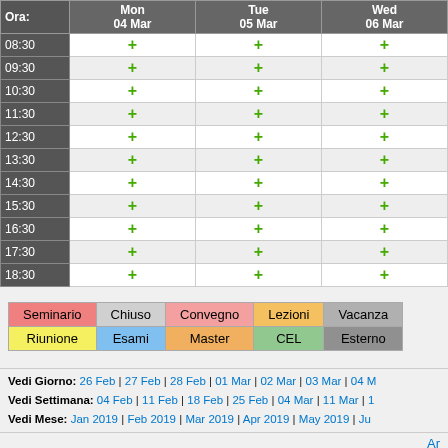| Ora: | Mon
04 Mar | Tue
05 Mar | Wed
06 Mar |
| --- | --- | --- | --- |
| 08:30 | + | + | + |
| 09:30 | + | + | + |
| 10:30 | + | + | + |
| 11:30 | + | + | + |
| 12:30 | + | + | + |
| 13:30 | + | + | + |
| 14:30 | + | + | + |
| 15:30 | + | + | + |
| 16:30 | + | + | + |
| 17:30 | + | + | + |
| 18:30 | + | + | + |
[Figure (other): Legend table showing calendar event types: Seminario (pink), Chiuso (gray), Convegno (light red), Lezioni (orange), Vacanza (gray), Riunione (yellow), Esami (blue), Master (orange), CEL (green), Esterno (gray)]
Vedi Giorno: 26 Feb | 27 Feb | 28 Feb | 01 Mar | 02 Mar | 03 Mar | 04 M
Vedi Settimana: 04 Feb | 11 Feb | 18 Feb | 25 Feb | 04 Mar | 11 Mar | 1
Vedi Mese: Jan 2019 | Feb 2019 | Mar 2019 | Apr 2019 | May 2019 | Ju